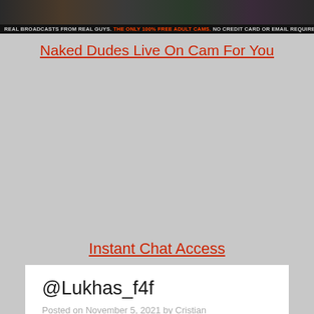[Figure (photo): Banner image showing adult cam site advertisement with dark background and colored bar text: REAL BROADCASTS FROM REAL GUYS. THE ONLY 100% FREE ADULT CAMS. NO CREDIT CARD OR EMAIL REQUIRED!]
Naked Dudes Live On Cam For You
Instant Chat Access
@Lukhas_f4f
Posted on November 5, 2021 by Cristian
@Lukhas_f4f, 29 y.o.
Location: Brussels
Room subject: CUM SHOW !! [o tokens